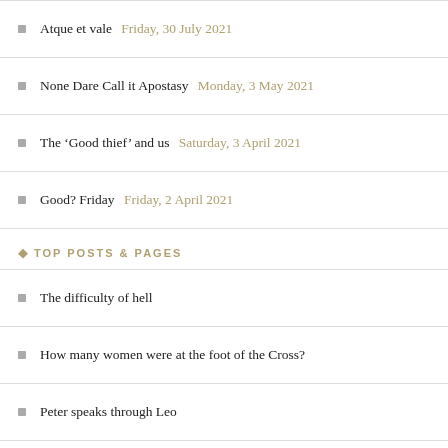Atque et vale Friday, 30 July 2021
None Dare Call it Apostasy Monday, 3 May 2021
The ‘Good thief’ and us Saturday, 3 April 2021
Good? Friday Friday, 2 April 2021
TOP POSTS & PAGES
The difficulty of hell
How many women were at the foot of the Cross?
Peter speaks through Leo
False Irenicism; the peace that is no peace at all
Atheism: thoughts of Fulton J. Sheen
Revisiting the Trinity
St. Ephrem’s prayer to the Most Holy Theotokos
Sir, Prophet, Messiah
The massacre of the Innocents